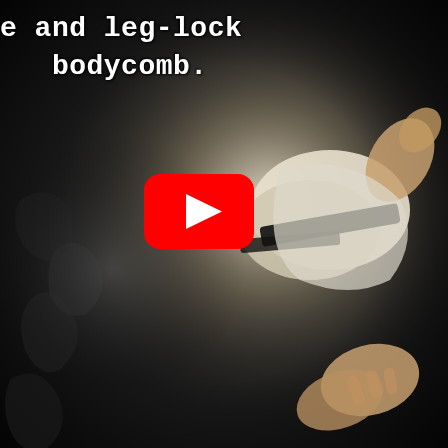e and leg-lock
   bodycomb.
[Figure (photo): Action photo of a martial arts or wrestling throw/technique, showing two people in a grappling exchange. One person appears to be thrown, with legs in the air. The image is high-contrast with dark background fading at edges. A YouTube play button overlay is visible in the center.]